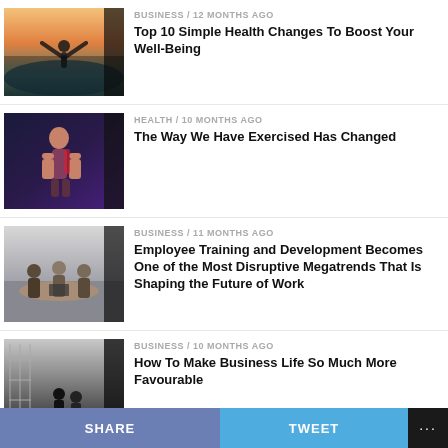BUSINESS / 12 months ago — Top 10 Simple Health Changes To Boost Your Well-Being
HEALTH / 10 months ago — The Way We Have Exercised Has Changed
BUSINESS / 11 months ago — Employee Training and Development Becomes One of the Most Disruptive Megatrends That Is Shaping the Future of Work
BUSINESS / 10 months ago — How To Make Business Life So Much More Favourable
HEALTH / 9 months ago
SHARE   TWEET   ...